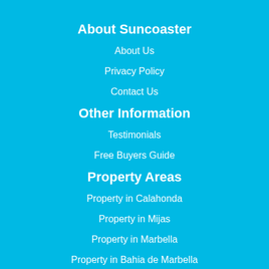About Suncoaster
About Us
Privacy Policy
Contact Us
Other Information
Testimonials
Free Buyers Guide
Property Areas
Property in Calahonda
Property in Mijas
Property in Marbella
Property in Bahia de Marbella
Property in Rio Real